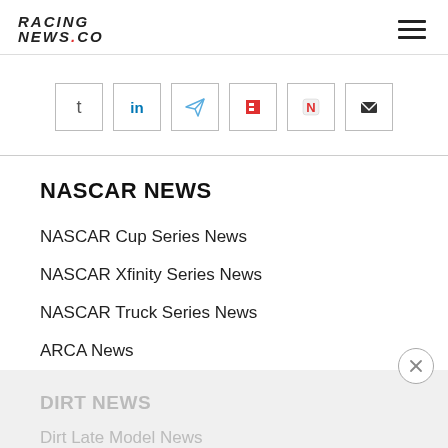RACING NEWS.CO
[Figure (other): Row of social sharing icons: Tumblr, LinkedIn, Telegram, Flipboard, Apple News, Email]
NASCAR NEWS
NASCAR Cup Series News
NASCAR Xfinity Series News
NASCAR Truck Series News
ARCA News
DIRT NEWS
Dirt Late Model News